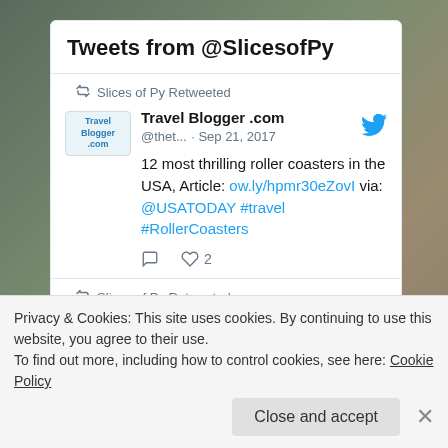Tweets from @SlicesofPy
Slices of Py Retweeted
Travel Blogger .com @thet... · Sep 21, 2017
12 most thrilling roller coasters in the USA, Article: ow.ly/hpmr30eZovI via: @USATODAY #travel #RollerCoasters
Slices of Py Retweeted
Condé Nast Trave...
Privacy & Cookies: This site uses cookies. By continuing to use this website, you agree to their use.
To find out more, including how to control cookies, see here: Cookie Policy
Close and accept